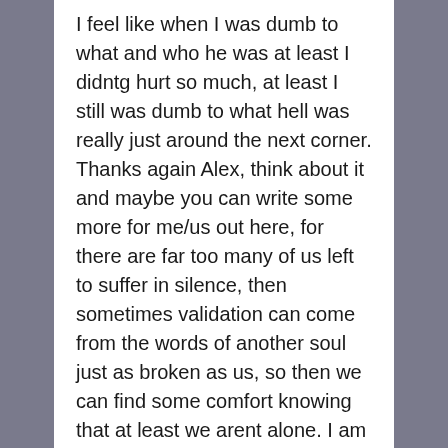I feel like when I was dumb to what and who he was at least I didntg hurt so much, at least I still was dumb to what hell was really just around the next corner. Thanks again Alex, think about it and maybe you can write some more for me/us out here, for there are far too many of us left to suffer in silence, then sometimes validation can come from the words of another soul just as broken as us, so then we can find some comfort knowing that at least we arent alone. I am going to also write with my best grammar through my blurry vision from sobbing in my tears that although I dont know you, I honestly can say I love you my dear friend Alex, take care and stay brave, May God Bless us all.
Reply